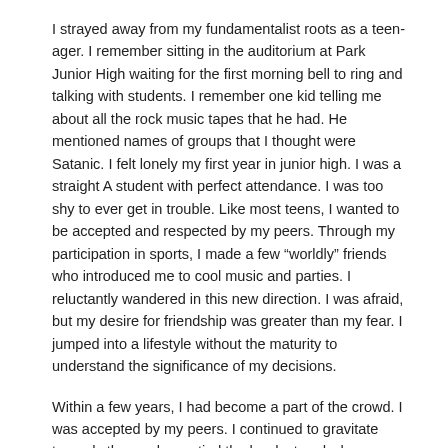I strayed away from my fundamentalist roots as a teen-ager. I remember sitting in the auditorium at Park Junior High waiting for the first morning bell to ring and talking with students. I remember one kid telling me about all the rock music tapes that he had. He mentioned names of groups that I thought were Satanic. I felt lonely my first year in junior high. I was a straight A student with perfect attendance. I was too shy to ever get in trouble. Like most teens, I wanted to be accepted and respected by my peers. Through my participation in sports, I made a few “worldly” friends who introduced me to cool music and parties. I reluctantly wandered in this new direction. I was afraid, but my desire for friendship was greater than my fear. I jumped into a lifestyle without the maturity to understand the significance of my decisions.
Within a few years, I had become a part of the crowd. I was accepted by my peers. I continued to gravitate towards those who partied the hardest and who were using the hardest drugs. First I became socially dependent on drugs and alcohol. Then I became a drug addict. These details I may reserve for another story. However, it was this dramatic swing during this stage in my life that influenced my Pharisaical tendencies a few years later.
The Pendulum Swings Back